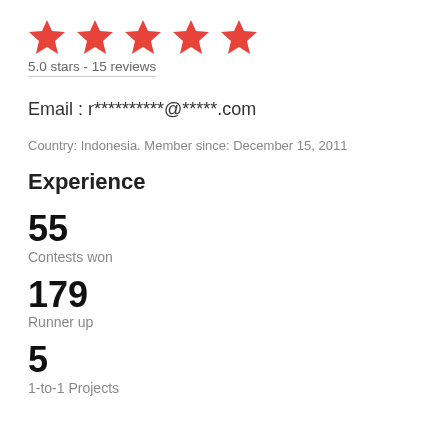[Figure (illustration): Five red star icons in a row representing a 5-star rating]
5.0 stars - 15 reviews
Email : r**********@*****.com
Country: Indonesia. Member since: December 15, 2011
Experience
55
Contests won
179
Runner up
5
1-to-1 Projects